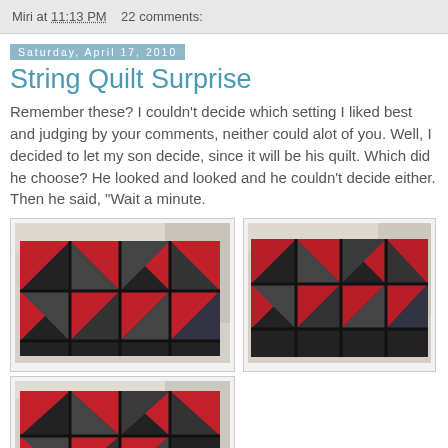Miri at 11:13 PM   22 comments:
Saturday, April 17, 2010
String Quilt Surprise
Remember these? I couldn't decide which setting I liked best and judging by your comments, neither could alot of you. Well, I decided to let my son decide, since it will be his quilt. Which did he choose? He looked and looked and he couldn't decide either. Then he said, "Wait a minute.
[Figure (photo): Red and black string quilt laid flat, viewed from above, showing triangular patchwork pattern]
[Figure (photo): Red and black string quilt laid flat, alternate angle, triangular patchwork pattern]
[Figure (photo): Red and black string quilt, third view showing triangular patchwork pattern]